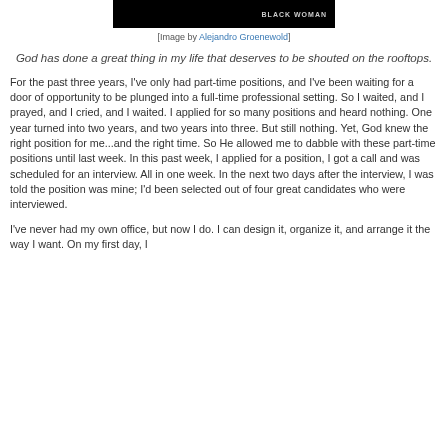[Figure (photo): Black image with text 'BLACK WOMAN' in gray letters on the right side]
[Image by Alejandro Groenewold]
God has done a great thing in my life that deserves to be shouted on the rooftops.
For the past three years, I've only had part-time positions, and I've been waiting for a door of opportunity to be plunged into a full-time professional setting. So I waited, and I prayed, and I cried, and I waited. I applied for so many positions and heard nothing. One year turned into two years, and two years into three. But still nothing. Yet, God knew the right position for me...and the right time. So He allowed me to dabble with these part-time positions until last week. In this past week, I applied for a position, I got a call and was scheduled for an interview. All in one week. In the next two days after the interview, I was told the position was mine; I'd been selected out of four great candidates who were interviewed.
I've never had my own office, but now I do. I can design it, organize it, and arrange it the way I want. On my first day, I